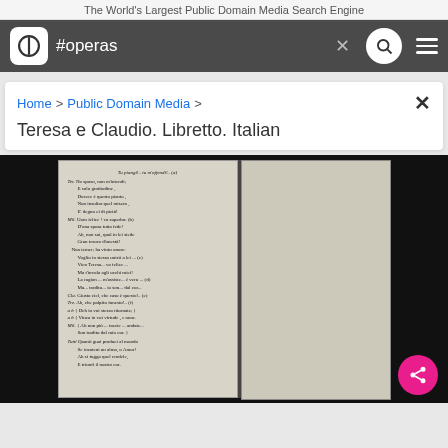The World's Largest Public Domain Media Search Engine
#operas
Home > Public Domain Media >
Teresa e Claudio. Libretto. Italian
[Figure (photo): Scanned page of an Italian opera libretto showing handwritten-style printed text in Italian, appearing to be 'Teresa e Claudio'. The open book shows two pages with text including speakers 'Ter.', 'Mil.', 'Cla.', 'Tre.' and various Italian verse lines.]